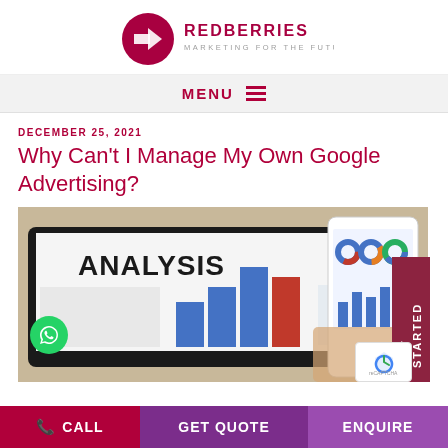[Figure (logo): Redberries Marketing For The Future logo — dark red circle with R and arrow mark, with company name text to the right]
MENU ≡
DECEMBER 25, 2021
Why Can't I Manage My Own Google Advertising?
[Figure (photo): Person holding a smartphone showing bar charts and donut charts (analytics dashboard) in front of a laptop screen displaying an 'ANALYSIS' header with bar and column charts — analytics/advertising data visualization scene]
CALL   GET QUOTE   ENQUIRE